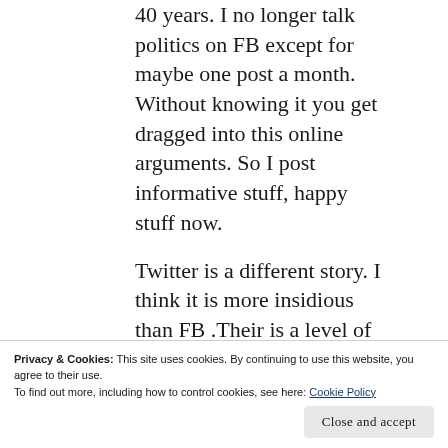40 years. I no longer talk politics on FB except for maybe one post a month. Without knowing it you get dragged into this online arguments. So I post informative stuff, happy stuff now.
Twitter is a different story. I think it is more insidious than FB .Their is a level of hatred and animosity on there that amazes me. I make up lists so I can go to them and bypass a lot of it. gives me more control. If something comes in my feed I don't want I block whom ever sent it
Privacy & Cookies: This site uses cookies. By continuing to use this website, you agree to their use.
To find out more, including how to control cookies, see here: Cookie Policy
My wife is much better than me, when